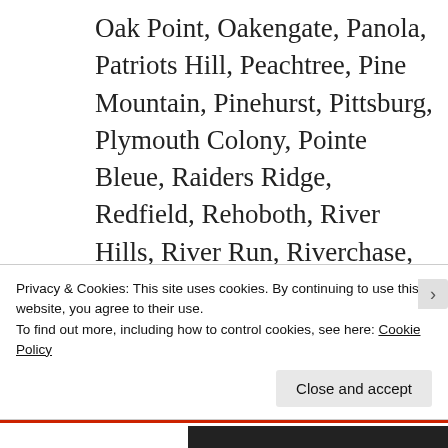Oak Point, Oakengate, Panola, Patriots Hill, Peachtree, Pine Mountain, Pinehurst, Pittsburg, Plymouth Colony, Pointe Bleue, Raiders Ridge, Redfield, Rehoboth, River Hills, River Run, Riverchase, Riverside Station, Rock Chapel, Rovena Acres, Royal Oaks, Salem West, Sara Lake Estates, Sheffield Woods,
Privacy & Cookies: This site uses cookies. By continuing to use this website, you agree to their use.
To find out more, including how to control cookies, see here: Cookie Policy